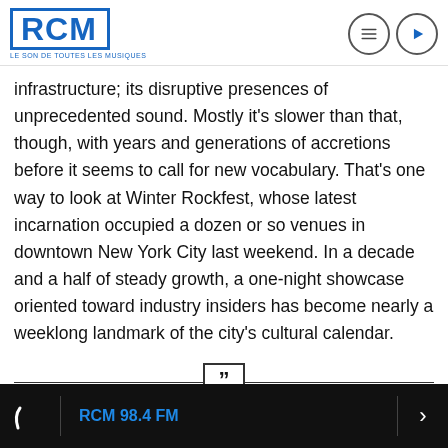[Figure (logo): RCM logo in blue with tagline 'LE SON DE TOUTES LES MUSIQUES' and two circular icon buttons (menu and play)]
infrastructure; its disruptive presences of unprecedented sound. Mostly it's slower than that, though, with years and generations of accretions before it seems to call for new vocabulary. That's one way to look at Winter Rockfest, whose latest incarnation occupied a dozen or so venues in downtown New York City last weekend. In a decade and a half of steady growth, a one-night showcase oriented toward industry insiders has become nearly a weeklong landmark of the city's cultural calendar.
Without deviation from the norm, progress is not possible.
RCM 98.4 FM